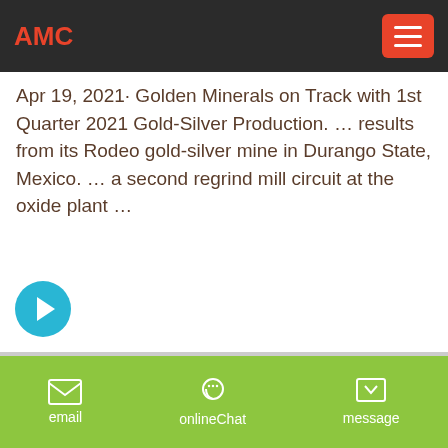AMC
Apr 19, 2021· Golden Minerals on Track with 1st Quarter 2021 Gold-Silver Production. … results from its Rodeo gold-silver mine in Durango State, Mexico. … a second regrind mill circuit at the oxide plant …
[Figure (other): Cyan circular arrow button pointing right]
[Figure (photo): Mining site with rocky terrain, green trees and blue sky, heavy machinery visible on right side]
email   onlineChat   message